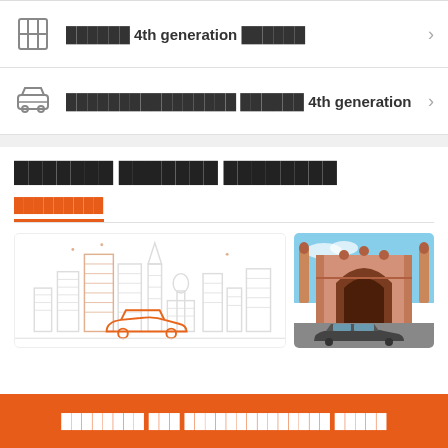██████ 4th generation ██████
████████████████ ██████ 4th generation
███████ ███████ ████████
█████████
[Figure (illustration): City skyline illustration with outline buildings in gray and an orange car outline at bottom; adjacent photo of Mughal arch monument with a dark car parked in front]
████████ ███ ██████████████ █████